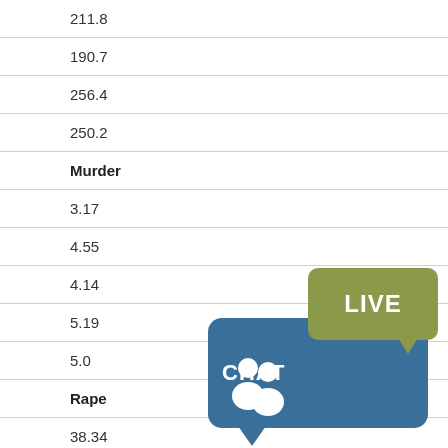| 211.8 |
| 190.7 |
| 256.4 |
| 250.2 |
| Murder |
| 3.17 |
| 4.55 |
| 4.14 |
| 5.19 |
| 5.0 |
| Rape |
| 38.34 |
[Figure (illustration): Live Chat overlay graphic with blue speech bubble containing people icon and green speech bubble with 'LIVE CHAT' text]